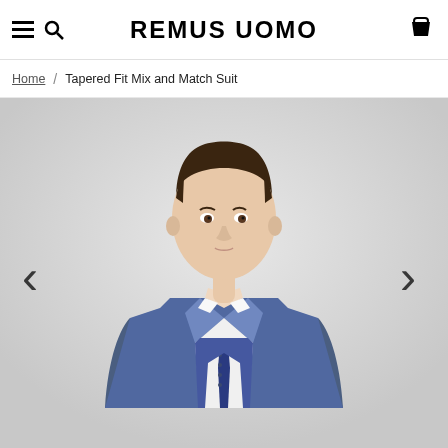REMUS UOMO
Home / Tapered Fit Mix and Match Suit
[Figure (photo): Male model wearing a blue tapered fit three-piece suit with a white shirt and navy tie, photographed against a light grey background. Navigation arrows (< and >) are visible on the left and right sides of the image.]